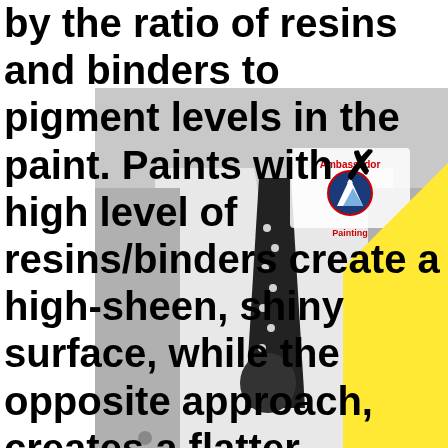by the ratio of resins and binders to pigment levels in the paint. Paints with a high level of resins/binders create a high-sheen, shiny surface, while the opposite approach, creates a flatter surface. Shiny paints are more durable, while flatter paints are less
[Figure (photo): Black and white photo of a man in a suit with a polka-dot tie, overlaid with a yellow triangle and a light gray rectangle. Ambassador Painting logo visible on the suit.]